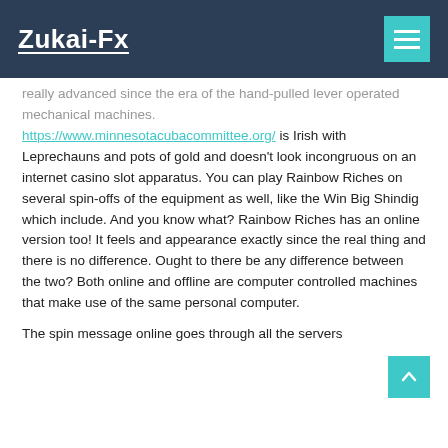Zukai-Fx
really advanced since the era of the hand-pulled lever operated mechanical machines. https://www.minnesotacubacommittee.org/ is Irish with Leprechauns and pots of gold and doesn't look incongruous on an internet casino slot apparatus. You can play Rainbow Riches on several spin-offs of the equipment as well, like the Win Big Shindig which include. And you know what? Rainbow Riches has an online version too! It feels and appearance exactly since the real thing and there is no difference. Ought to there be any difference between the two? Both online and offline are computer controlled machines that make use of the same personal computer.
The spin message online goes through all the servers...